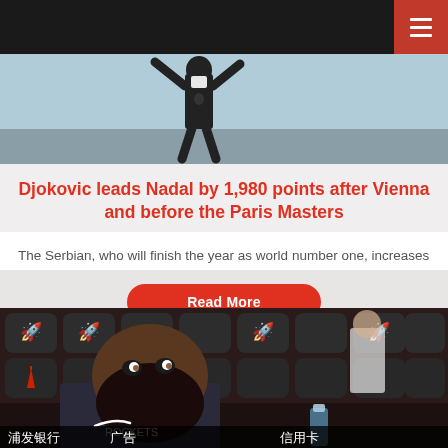Navigation bar with hamburger menu
[Figure (photo): Tennis player silhouette raising arms in celebration, light blue background]
Djokovic leads Nadal by 1,980 points after Vienna and before the Paris Masters
The Serbian, who will finish the year as world number one, increases his lead after participating in the Vienna tournament....
Read More
[Figure (photo): James Harden sitting courtside at Houston Rockets arena in China, with Chinese advertising banners visible]